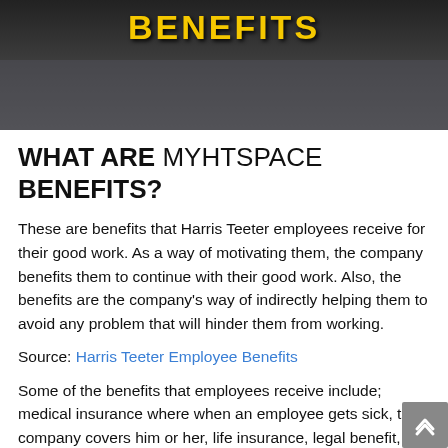[Figure (photo): Dark banner image with the word BENEFITS in bold yellow/gold uppercase letters on a dark background, appearing to show a person at a desk/table.]
WHAT ARE MYHTSPACE BENEFITS?
These are benefits that Harris Teeter employees receive for their good work. As a way of motivating them, the company benefits them to continue with their good work. Also, the benefits are the company's way of indirectly helping them to avoid any problem that will hinder them from working.
Source: Harris Teeter Employee Benefits
Some of the benefits that employees receive include; medical insurance where when an employee gets sick, the company covers him or her, life insurance, legal benefit, cosmetics, cover for